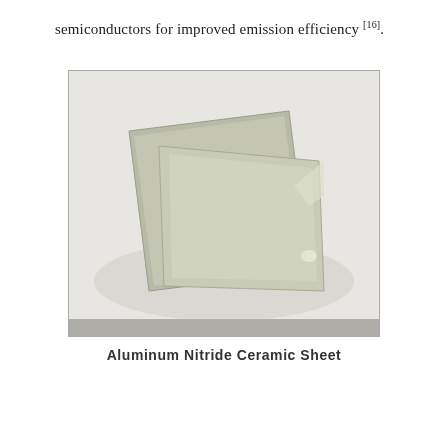semiconductors for improved emission efficiency [16].
[Figure (photo): Photograph of two ceramic sheets (Aluminum Nitride) laid overlapping on a light background. The sheets are rectangular, smooth, and have a pale greenish-gray color. One is tilted at an angle behind the other.]
Aluminum Nitride Ceramic Sheet